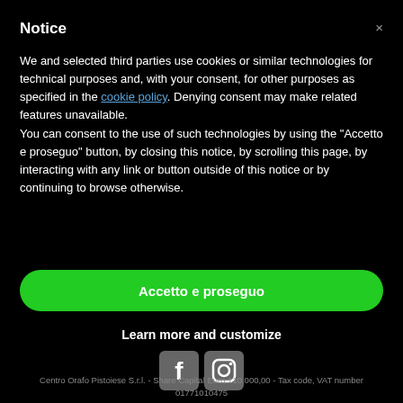Notice
We and selected third parties use cookies or similar technologies for technical purposes and, with your consent, for other purposes as specified in the cookie policy. Denying consent may make related features unavailable.
You can consent to the use of such technologies by using the "Accetto e proseguo" button, by closing this notice, by scrolling this page, by interacting with any link or button outside of this notice or by continuing to browse otherwise.
Accetto e proseguo
Learn more and customize
[Figure (logo): Facebook and Instagram social media icons in gray]
Centro Orafo Pistoiese S.r.l. - Share Capital Euro 110.000,00 - Tax code, VAT number 01771010475